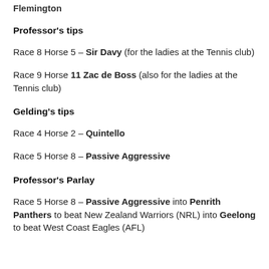Flemington
Professor's tips
Race 8 Horse 5 – Sir Davy (for the ladies at the Tennis club)
Race 9 Horse 11 Zac de Boss (also for the ladies at the Tennis club)
Gelding's tips
Race 4 Horse 2 – Quintello
Race 5 Horse 8 – Passive Aggressive
Professor's Parlay
Race 5 Horse 8 – Passive Aggressive into Penrith Panthers to beat New Zealand Warriors (NRL) into Geelong to beat West Coast Eagles (AFL)